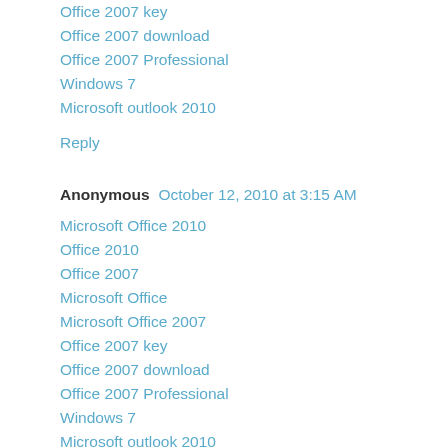Office 2007 key
Office 2007 download
Office 2007 Professional
Windows 7
Microsoft outlook 2010
Reply
Anonymous  October 12, 2010 at 3:15 AM
Microsoft Office 2010
Office 2010
Office 2007
Microsoft Office
Microsoft Office 2007
Office 2007 key
Office 2007 download
Office 2007 Professional
Windows 7
Microsoft outlook 2010
Reply